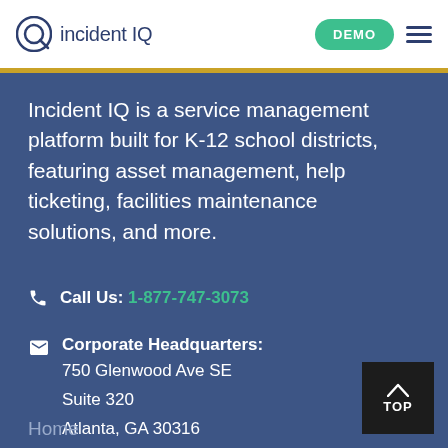incident IQ — DEMO
Incident IQ is a service management platform built for K-12 school districts, featuring asset management, help ticketing, facilities maintenance solutions, and more.
Call Us: 1-877-747-3073
Corporate Headquarters: 750 Glenwood Ave SE Suite 320 Atlanta, GA 30316
Home